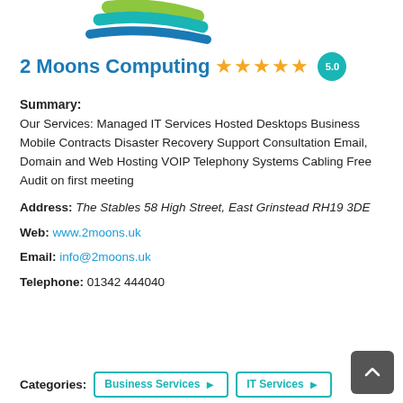[Figure (logo): 2 Moons Computing logo — two overlapping arcs in teal and green with a blue swoosh underneath, partial view at top of page]
2 Moons Computing ★★★★★ 5.0
Summary:
Our Services: Managed IT Services Hosted Desktops Business Mobile Contracts Disaster Recovery Support Consultation Email, Domain and Web Hosting VOIP Telephony Systems Cabling Free Audit on first meeting
Address: The Stables 58 High Street, East Grinstead RH19 3DE
Web: www.2moons.uk
Email: info@2moons.uk
Telephone: 01342 444040
Categories: Business Services | IT Services